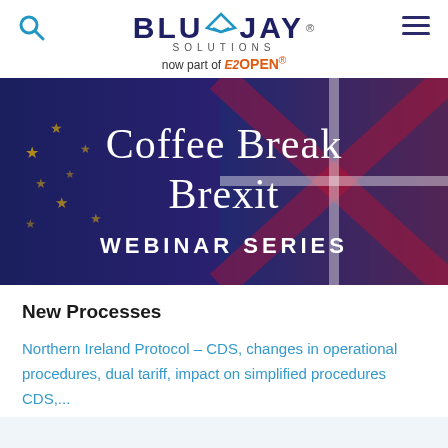BluJay Solutions — now part of E2OPEN
[Figure (illustration): Coffee Break Brexit Webinar Series banner image with EU and UK flags background and white text]
New Processes
Northern Ireland Protocol – CDS, changes in operational procedures, dual tariff, impact on simplified procedures
CDS,...